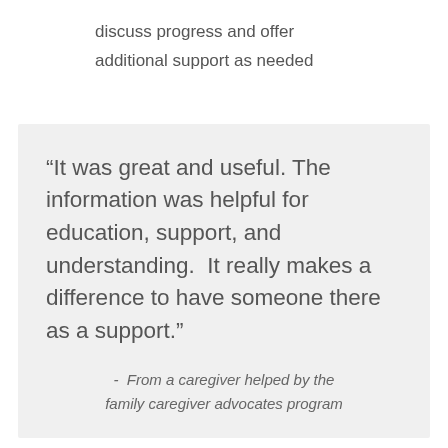discuss progress and offer additional support as needed
“It was great and useful. The information was helpful for education, support, and understanding.  It really makes a difference to have someone there as a support.”
-  From a caregiver helped by the family caregiver advocates program